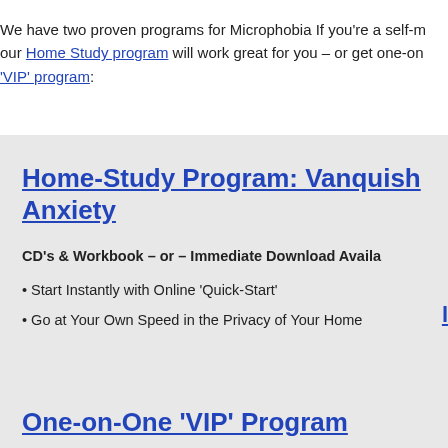We have two proven programs for Microphobia If you're a self-m our Home Study program will work great for you – or get one-on 'VIP' program:
Home-Study Program: Vanquish Anxiety
CD's & Workbook – or – Immediate Download Availa
• Start Instantly with Online 'Quick-Start'
• Go at Your Own Speed in the Privacy of Your Home
One-on-One 'VIP' Program